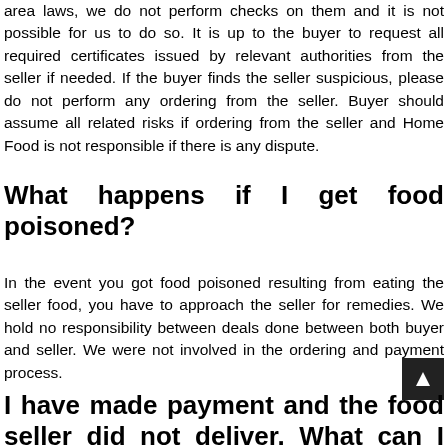area laws, we do not perform checks on them and it is not possible for us to do so. It is up to the buyer to request all required certificates issued by relevant authorities from the seller if needed. If the buyer finds the seller suspicious, please do not perform any ordering from the seller. Buyer should assume all related risks if ordering from the seller and Home Food is not responsible if there is any dispute.
What happens if I get food poisoned?
In the event you got food poisoned resulting from eating the seller food, you have to approach the seller for remedies. We hold no responsibility between deals done between both buyer and seller. We were not involved in the ordering and payment process.
I have made payment and the food seller did not deliver. What can I do?